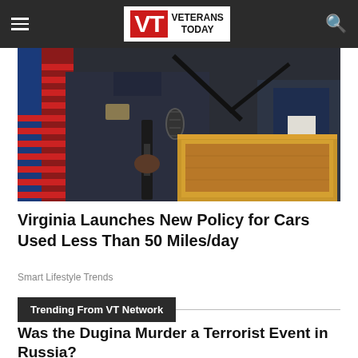VT VETERANS TODAY
[Figure (photo): Police officer in dark uniform holding a rifle, standing at a wooden podium with microphone, with an American flag visible in the background]
Virginia Launches New Policy for Cars Used Less Than 50 Miles/day
Smart Lifestyle Trends
Trending From VT Network
Was the Dugina Murder a Terrorist Event in Russia?